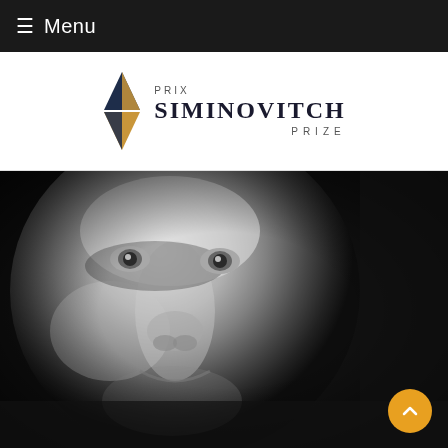≡ Menu
[Figure (logo): Prix Siminovitch Prize logo with a geometric diamond/hourglass shape in dark blue and gold, with text 'PRIX SIMINOVITCH PRIZE']
[Figure (photo): Close-up black and white portrait photograph of a man with light stubble beard, smiling slightly, looking upward]